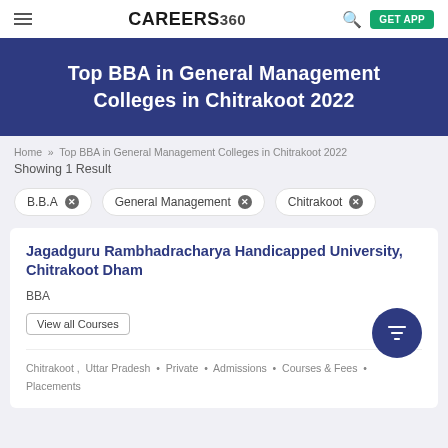CAREERS360
Top BBA in General Management Colleges in Chitrakoot 2022
Home » Top BBA in General Management Colleges in Chitrakoot 2022
Showing 1 Result
B.B.A ×
General Management ×
Chitrakoot ×
Jagadguru Rambhadracharya Handicapped University, Chitrakoot Dham
BBA
View all Courses
Chitrakoot , Uttar Pradesh · Private · Admissions · Courses & Fees · Placements